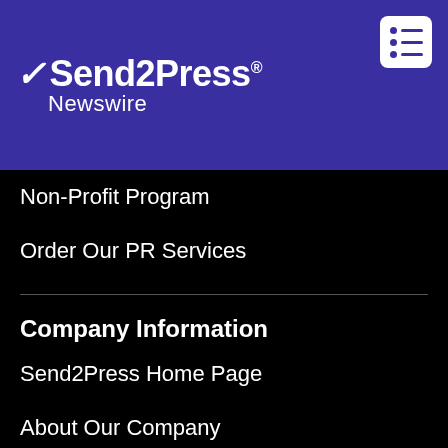[Figure (logo): Send2Press Newswire logo with lightning bolt icon on purple/indigo header bar]
Non-Profit Program
Order Our PR Services
Company Information
Send2Press Home Page
About Our Company
Meet Our Team
Verify Our Company
Client Testimonials